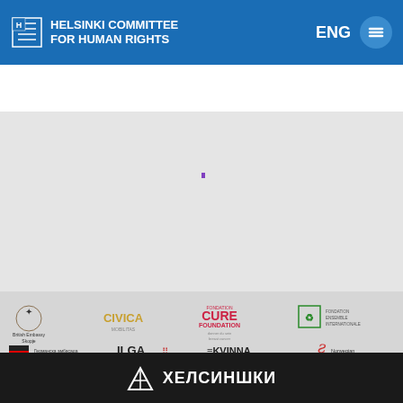Helsinki Committee for Human Rights | ENG
[Figure (screenshot): Navigation bar with REPORT, DONATE buttons and Search field]
[Figure (infographic): Partners logos grid: British Embassy Skopje, CIVICA Mobilitas, Fondation CURE Foundation, Fondation Ensemble/Internationale; Германска амбасада Скопје, ILGA Europe, Kvinna till Kvinna, Norwegian Helsinki Committee; EU Commission logo, Council of Europe, EU flag, SIGRID RAUSING TRUST; U.S. Embassy in North Macedonia, YUCOM Lawyers' Committee for Human Rights]
[Figure (logo): ХЕЛСИНШКИ footer logo in Cyrillic on dark background]